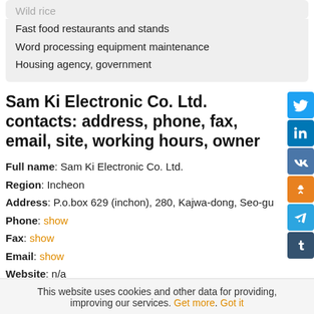Wild rice
Fast food restaurants and stands
Word processing equipment maintenance
Housing agency, government
Sam Ki Electronic Co. Ltd. contacts: address, phone, fax, email, site, working hours, owner
Full name: Sam Ki Electronic Co. Ltd.
Region: Incheon
Address: P.o.box 629 (inchon), 280, Kajwa-dong, Seo-gu
Phone: show
Fax: show
Email: show
Website: n/a
Owner / Director / Manager of Sam Ki Electronic Co. Ltd.:
This website uses cookies and other data for providing, improving our services. Get more. Got it